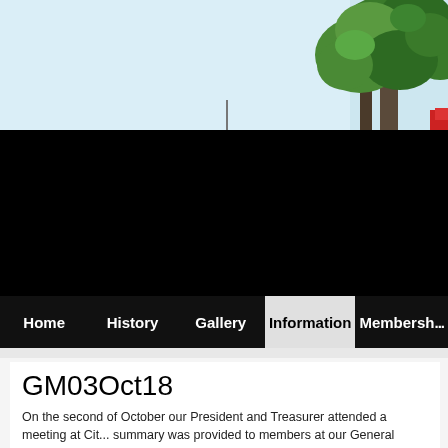[Figure (photo): Photograph showing tree branches with green foliage against a light blue sky, with a partial red element visible at the right edge. Lower portion of image is a large black bar.]
Home | History | Gallery | Information | Membership
GM03Oct18
On the second of October our President and Treasurer attended a meeting at Cit... summary was provided to members at our General Meeting on the 3rd of Octobe... October mail out. The summary is included below, as well as the full transcript o...